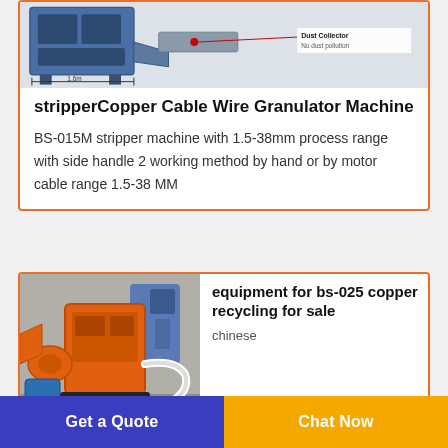[Figure (photo): Industrial machine - dust collector equipment with 1.6m measurement annotation and 'Dust Collector No dust pollution' label]
stripperCopper Cable Wire Granulator Machine
BS-015M stripper machine with 1.5-38mm process range with side handle 2 working method by hand or by motor cable range 1.5-38 MM
[Figure (photo): Orange copper recycling machine equipment in industrial facility]
equipment for bs-025 copper recycling for sale
chinese